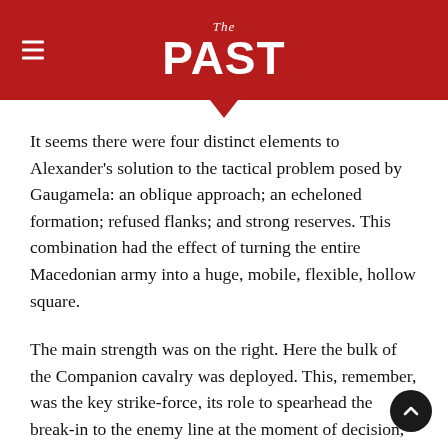THE PAST
It seems there were four distinct elements to Alexander's solution to the tactical problem posed by Gaugamela: an oblique approach; an echeloned formation; refused flanks; and strong reserves. This combination had the effect of turning the entire Macedonian army into a huge, mobile, flexible, hollow square.
The main strength was on the right. Here the bulk of the Companion cavalry was deployed. This, remember, was the key strike-force, its role to spearhead the break-in to the enemy line at the moment of decision, this to be determined by the leader himself, who would ride at the head of the cavalry wedge.
Left of the cavalry, in the centre of the Macedonian line and